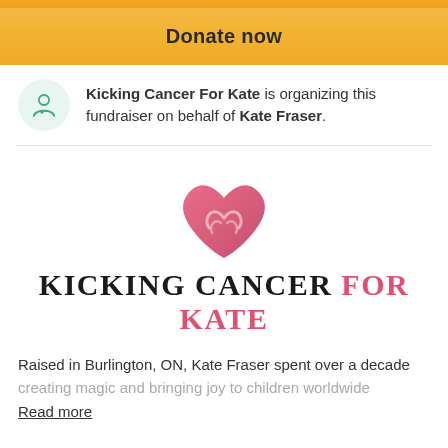[Figure (other): Orange gradient top bar strip]
Donate now
Kicking Cancer For Kate is organizing this fundraiser on behalf of Kate Fraser.
[Figure (logo): Kicking Cancer For Kate logo: a pink/red heart shape above the text KICKING CANCER FOR KATE]
KICKING CANCER FOR KATE
Raised in Burlington, ON, Kate Fraser spent over a decade creating magic and bringing joy to children worldwide
Read more